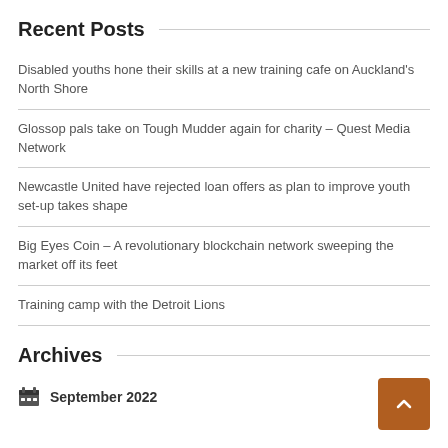Recent Posts
Disabled youths hone their skills at a new training cafe on Auckland's North Shore
Glossop pals take on Tough Mudder again for charity – Quest Media Network
Newcastle United have rejected loan offers as plan to improve youth set-up takes shape
Big Eyes Coin – A revolutionary blockchain network sweeping the market off its feet
Training camp with the Detroit Lions
Archives
September 2022